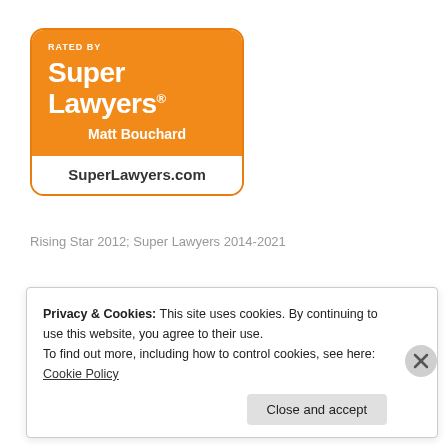[Figure (logo): Super Lawyers badge: orange rounded rectangle with 'RATED BY' text, 'Super Lawyers®' in large white bold, 'Matt Bouchard' in white, and white bottom section with 'SuperLawyers.com' in dark bold text.]
Rising Star 2012; Super Lawyers 2014-2021
[Figure (logo): Partial circular logo with text 'D GENERAL CO' around the top arc, red and white circular badge design, partially visible at bottom of page.]
Privacy & Cookies: This site uses cookies. By continuing to use this website, you agree to their use.
To find out more, including how to control cookies, see here: Cookie Policy